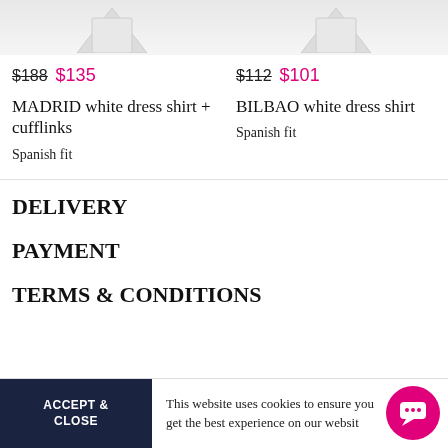[Figure (photo): Top of product images for two white dress shirts, partially cropped at top of page]
$188 $135
$112 $101
MADRID white dress shirt + cufflinks
BILBAO white dress shirt
Spanish fit
Spanish fit
DELIVERY
PAYMENT
TERMS & CONDITIONS
ACCEPT & CLOSE
This website uses cookies to ensure you get the best experience on our website